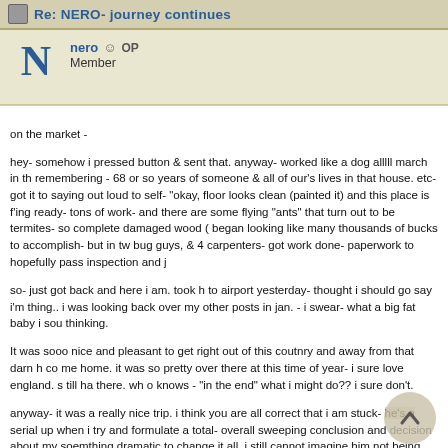Re: NERO- journey continues
nero  OP
Member
on the market -

hey- somehow i pressed button & sent that. anyway- worked like a dog alllll march in th remembering - 68 or so years of someone & all of our's lives in that house. etc- got it to saying out loud to self- "okay, floor looks clean (painted it) and this place is f'ing ready- tons of work- and there are some flying "ants" that turn out to be termites- so complete damaged wood ( began looking like many thousands of bucks to accomplish- but in tw bug guys, & 4 carpenters- got work done- paperwork to hopefully pass inspection and j

so- just got back and here i am. took h to airport yesterday- thought i should go say i'm thing.. i was looking back over my other posts in jan. - i swear- what a big fat baby i sou thinking.

It was sooo nice and pleasant to get right out of this coutnry and away from that darn h co me home. it was so pretty over there at this time of year- i sure love england. s till ha there. wh o knows - "in the end" what i might do?? i sure don't.

anyway- it was a really nice trip. i think you are all correct that i am stuck- he's a serial up when i try and formulate a total- overall sweeping conclusion and decision about my soemthing dramatic to change it all. i still cannot imagine him not being somewhere in